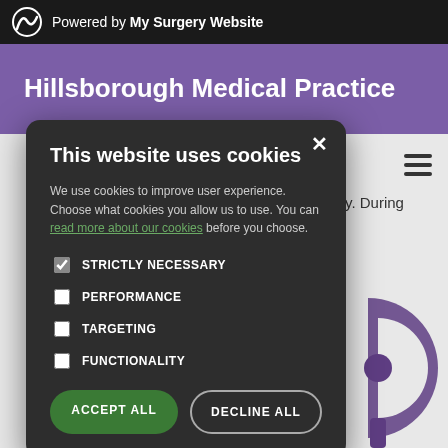Powered by My Surgery Website
Hillsborough Medical Practice
urgery. During n.
[Figure (screenshot): Cookie consent modal dialog on a medical practice website. Modal has dark background with title 'This website uses cookies', body text about cookie usage, checkboxes for STRICTLY NECESSARY (checked), PERFORMANCE, TARGETING, FUNCTIONALITY, and two buttons: ACCEPT ALL (green) and DECLINE ALL (outlined).]